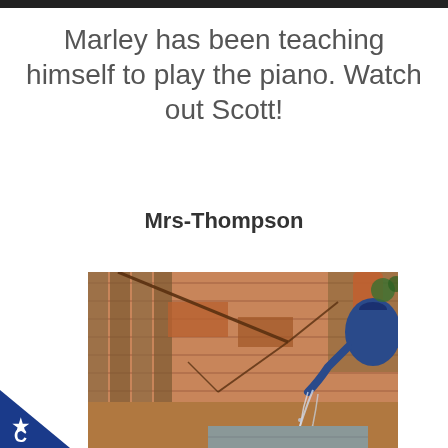Marley has been teaching himself to play the piano. Watch out Scott!
Mrs-Thompson
[Figure (photo): Photograph of water being poured from a blue watering can into a galvanized bucket, with a wooden fence and brick wall in the background.]